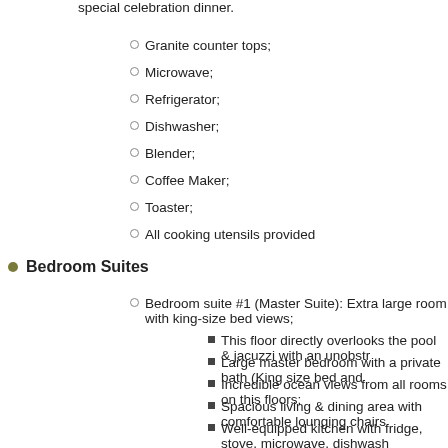special celebration dinner.
Granite counter tops;
Microwave;
Refrigerator;
Dishwasher;
Blender;
Coffee Maker;
Toaster;
All cooking utensils provided
Bedroom Suites
Bedroom suite #1 (Master Suite): Extra large room with king-size bed views;
This floor directly overlooks the pool & jacuzzi with an unobstr
Large master bedroom with a private bath (King size bed and
Incredible ocean views from all rooms on this floors;
Spacious living & dining area with comfortable lounging chairs
Well-equipped kitchen with fridge, stove, microwave, dishwash
Bedroom suite #2 (Jacuzzi): Large room with Queen-size bed, large f
This guest room has a lovely view of the garden and the ocea
Large private bath with Jacuzzi and a separate shower
Queen size bed
Flat screen TV
Mini-fridge
Wet-bar
Bedroom suite #3 (Suite): Large room with Queen-size bed, large full
This guest room has a gorgeous ocean view from the patio a
Private bath (shower)
Queen size bed
Flat screen TV